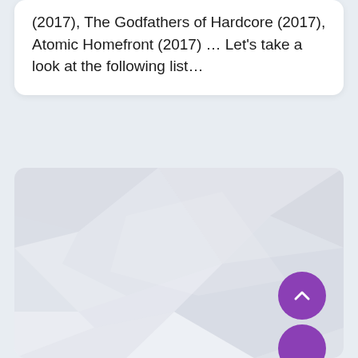(2017), The Godfathers of Hardcore (2017), Atomic Homefront (2017) … Let's take a look at the following list…
[Figure (illustration): Abstract low-poly geometric background in light gray and white tones, with a purple circular scroll-up button in the lower right corner and a second purple circle partially visible at the bottom edge.]